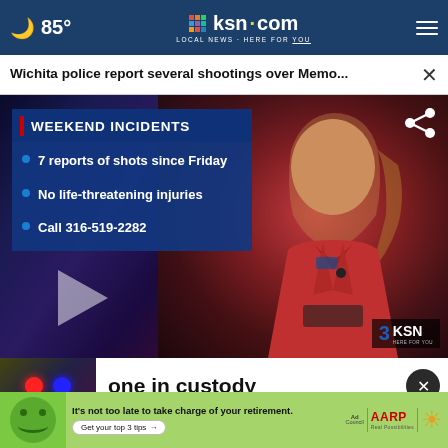85° ksn.com LOCAL NEWS·HERE FOR YOU
Wichita police report several shootings over Memo...
[Figure (screenshot): TV news broadcast screenshot showing female anchor in red dress next to a blue graphic with text: WEEKEND INCIDENTS • 7 reports of shots since Friday • No life-threatening injuries • Call 316-519-2282. KSN watermark in bottom right.]
one in custody
It's not too late to take charge of your retirement. Get your top 3 tips → Ad Council AARP Real Possibilities